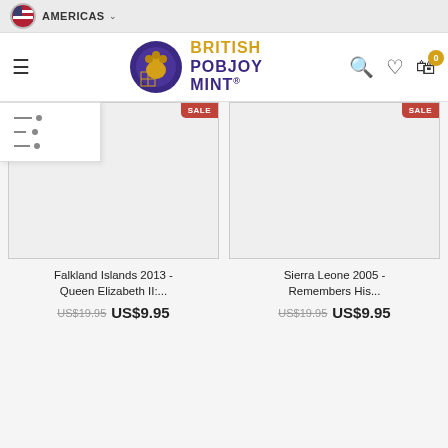AMERICAS
[Figure (logo): British Pobjoy Mint logo with lion emblem]
[Figure (other): Filter/sliders icon panel]
[Figure (photo): Falkland Islands 2013 coin product image placeholder]
[Figure (photo): Sierra Leone 2005 coin product image placeholder]
Falkland Islands 2013 - Queen Elizabeth II:...
US$19.95 US$9.95
Sierra Leone 2005 - Remembers His...
US$19.95 US$9.95